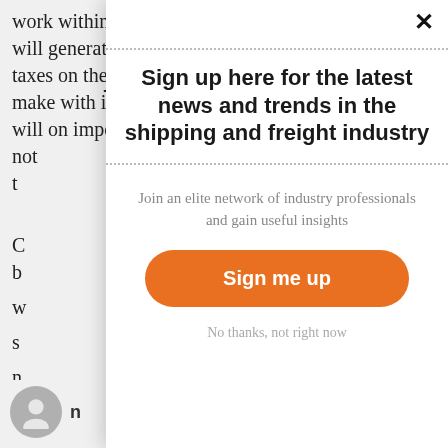work within SA and it will generate more in taxes on the parts I make with it, than they will on import duties, not t
Sign up here for the latest news and trends in the shipping and freight industry
Join an elite network of industry professionals and gain useful insights
Sign me up
No thanks, not right now
n